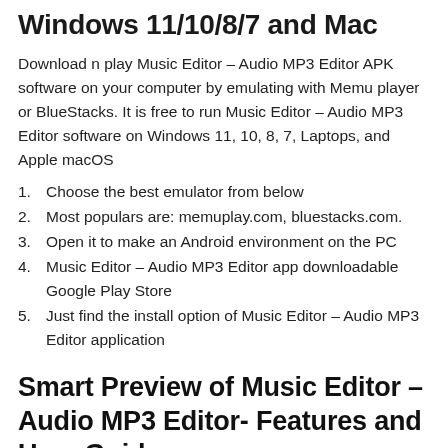Windows 11/10/8/7 and Mac
Download n play Music Editor – Audio MP3 Editor APK software on your computer by emulating with Memu player or BlueStacks. It is free to run Music Editor – Audio MP3 Editor software on Windows 11, 10, 8, 7, Laptops, and Apple macOS
Choose the best emulator from below
Most populars are: memuplay.com, bluestacks.com.
Open it to make an Android environment on the PC
Music Editor – Audio MP3 Editor app downloadable Google Play Store
Just find the install option of Music Editor – Audio MP3 Editor application
Smart Preview of Music Editor – Audio MP3 Editor- Features and User Guide